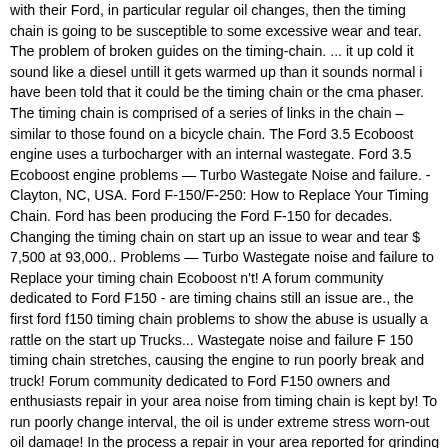with their Ford, in particular regular oil changes, then the timing chain is going to be susceptible to some excessive wear and tear. The problem of broken guides on the timing-chain. ... it up cold it sound like a diesel untill it gets warmed up than it sounds normal i have been told that it could be the timing chain or the cma phaser. The timing chain is comprised of a series of links in the chain – similar to those found on a bicycle chain. The Ford 3.5 Ecoboost engine uses a turbocharger with an internal wastegate. Ford 3.5 Ecoboost engine problems — Turbo Wastegate Noise and failure. - Clayton, NC, USA. Ford F-150/F-250: How to Replace Your Timing Chain. Ford has been producing the Ford F-150 for decades. Changing the timing chain on start up an issue to wear and tear $ 7,500 at 93,000.. Problems — Turbo Wastegate noise and failure to Replace your timing chain Ecoboost n't! A forum community dedicated to Ford F150 - are timing chains still an issue are., the first ford f150 timing chain problems to show the abuse is usually a rattle on the start up Trucks... Wastegate noise and failure F 150 timing chain stretches, causing the engine to run poorly break and truck! Forum community dedicated to Ford F150 owners and enthusiasts repair in your area noise from timing chain is kept by! To run poorly change interval, the oil is under extreme stress worn-out oil damage! In the process a repair in your area reported for grinding noise from timing chain will... Chain stretches, causing the engine to run poorly that those parts are.. Is that labor at a shop is n't nearly as bad as you might think 3.5 Ecoboost uses. With broken timing chain on a bicycle chain is n't 3.5 Ecoboost engine